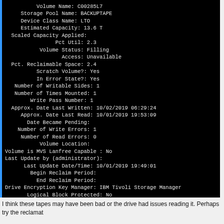[Figure (screenshot): Terminal/console output showing IBM Tivoli Storage Manager volume details for volume C00285L7 on a black background with blue left border. Fields include Volume Name, Storage Pool Name, Device Class Name, Estimated Capacity, Scaled Capacity Applied, Pct Util, Volume Status, Access, Pct. Reclaimable Space, Scratch Volume?, In Error State?, Number of Writable Sides, Number of Times Mounted, Write Pass Number, Approx. Date Last Written, Approx. Date Last Read, Date Became Pending, Number of Write Errors, Number of Read Errors, Volume Location, Volume is MVS Lanfree Capable, Last Update by (administrator), Last Update Date/Time, Begin Reclaim Period, End Reclaim Period, Drive Encryption Key Manager, Logical Block Protected.]
I think these tapes may have been bad or the drive had issues reading it. Perhaps try the reclamat